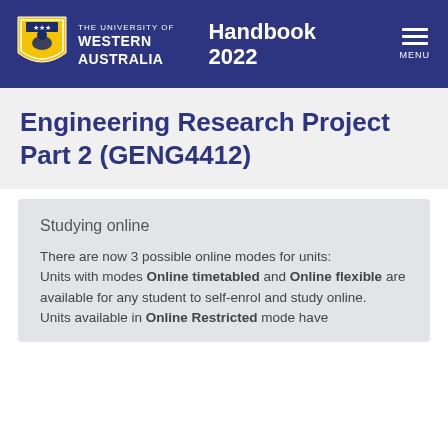THE UNIVERSITY OF WESTERN AUSTRALIA — Handbook 2022 — MENU
Engineering Research Project Part 2 (GENG4412)
Studying online
There are now 3 possible online modes for units:
Units with modes Online timetabled and Online flexible are available for any student to self-enrol and study online.
Units available in Online Restricted mode have